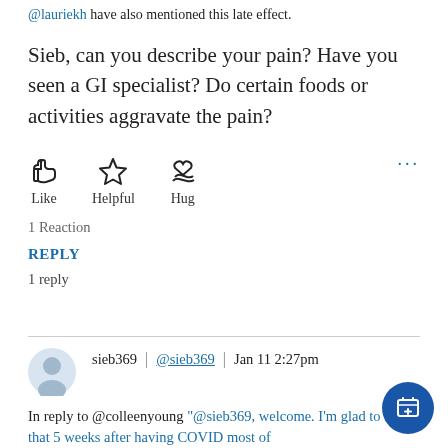@lauriekh have also mentioned this late effect.
Sieb, can you describe your pain? Have you seen a GI specialist? Do certain foods or activities aggravate the pain?
[Figure (infographic): Reaction buttons: Like (thumbs up icon), Helpful (star icon), Hug (heart in hand icon), and a blue ellipsis menu button]
1 Reaction
REPLY
1 reply
[Figure (infographic): User avatar silhouette icon for sieb369]
sieb369 | @sieb369 | Jan 11 2:27pm
In reply to @colleenyoung "@sieb369, welcome. I'm glad to hear that 5 weeks after having COVID most of